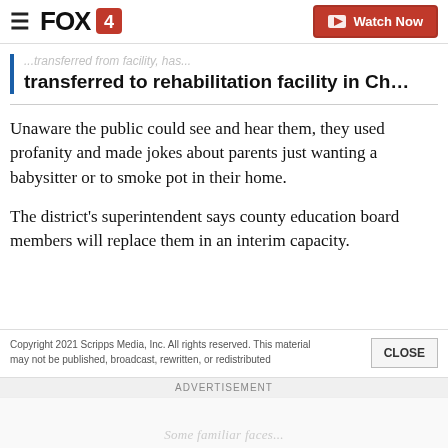FOX4 | Watch Now
transferred to rehabilitation facility in Ch…
Unaware the public could see and hear them, they used profanity and made jokes about parents just wanting a babysitter or to smoke pot in their home.
The district's superintendent says county education board members will replace them in an interim capacity.
Copyright 2021 Scripps Media, Inc. All rights reserved. This material may not be published, broadcast, rewritten, or redistributed
ADVERTISEMENT